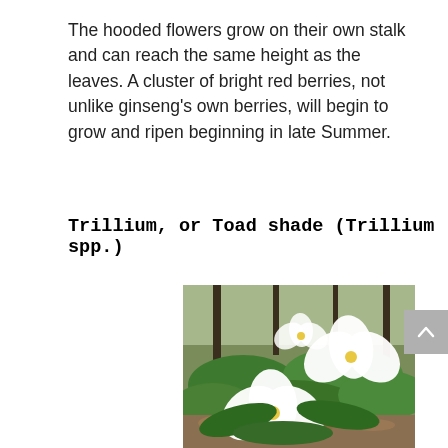The hooded flowers grow on their own stalk and can reach the same height as the leaves. A cluster of bright red berries, not unlike ginseng's own berries, will begin to grow and ripen beginning in late Summer.
Trillium, or Toad shade (Trillium spp.)
[Figure (photo): Photograph of Trillium flowers (white three-petaled blooms with yellow centers) growing among large green leaves in a woodland setting with fallen leaves on the ground.]